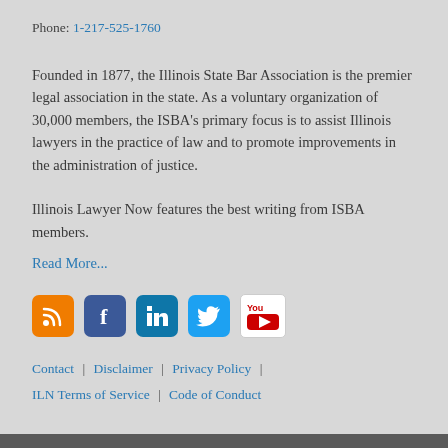Phone: 1-217-525-1760
Founded in 1877, the Illinois State Bar Association is the premier legal association in the state. As a voluntary organization of 30,000 members, the ISBA's primary focus is to assist Illinois lawyers in the practice of law and to promote improvements in the administration of justice.
Illinois Lawyer Now features the best writing from ISBA members.
Read More...
[Figure (other): Social media icons: RSS (orange), Facebook (dark blue), LinkedIn (teal), Twitter (light blue), YouTube (white/red)]
Contact  |  Disclaimer  |  Privacy Policy  |  ILN Terms of Service  |  Code of Conduct